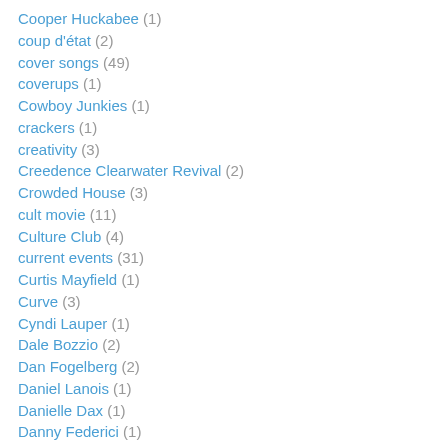Cooper Huckabee (1)
coup d'état (2)
cover songs (49)
coverups (1)
Cowboy Junkies (1)
crackers (1)
creativity (3)
Creedence Clearwater Revival (2)
Crowded House (3)
cult movie (11)
Culture Club (4)
current events (31)
Curtis Mayfield (1)
Curve (3)
Cyndi Lauper (1)
Dale Bozzio (2)
Dan Fogelberg (2)
Daniel Lanois (1)
Danielle Dax (1)
Danny Federici (1)